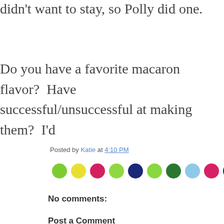didn't want to stay, so Polly did one.
Do you have a favorite macaron flavor?  Have you been successful/unsuccessful at making them?  I'd
Posted by Katie at 4:10 PM
[Figure (illustration): A row of colorful circular dot icons: green, yellow, red/pink, light green, dark blue, light green, dark green, light blue, hot pink, dark blue, dark green]
No comments:
Post a Comment